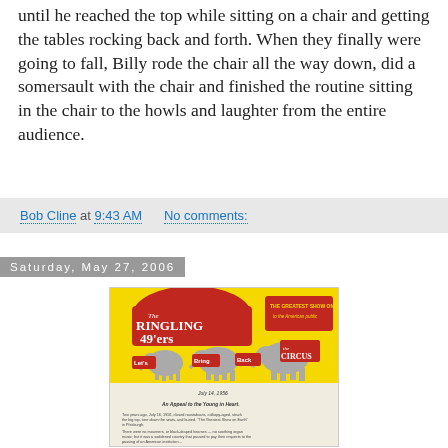until he reached the top while sitting on a chair and getting the tables rocking back and forth. When they finally were going to fall, Billy rode the chair all the way down, did a somersault with the chair and finished the routine sitting in the chair to the howls and laughter from the entire audience.
Bob Cline at 9:43 AM    No comments:
Saturday, May 27, 2006
[Figure (photo): Ringling 49'ers circus promotional image showing elephants in a row with text 'Let's Bring Back the Circus - The Greatest Show on Earth to the American public' on yellow and red background, with a letter below dated July 16, 1956 titled 'An Appeal to the Young in Heart.']